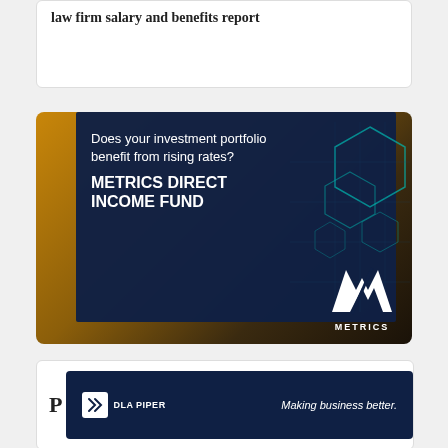law firm salary and benefits report
[Figure (illustration): Advertisement banner for Metrics Direct Income Fund. Dark navy blue overlay on a landscape background with sunset/mountains. Text reads: 'Does your investment portfolio benefit from rising rates? METRICS DIRECT INCOME FUND'. Teal hexagon geometric pattern on right side. Large white 'M' logo with 'METRICS' text in bottom right corner.]
[Figure (logo): Partial view of a DLA Piper advertisement banner on dark navy background with logo and text 'Making business better.']